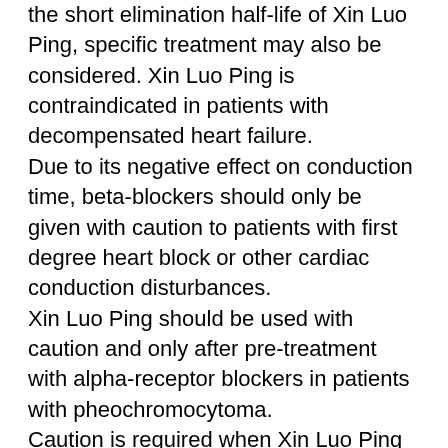the short elimination half-life of Xin Luo Ping, specific treatment may also be considered. Xin Luo Ping is contraindicated in patients with decompensated heart failure. Due to its negative effect on conduction time, beta-blockers should only be given with caution to patients with first degree heart block or other cardiac conduction disturbances. Xin Luo Ping should be used with caution and only after pre-treatment with alpha-receptor blockers in patients with pheochromocytoma. Caution is required when Xin Luo Ping is used to treat hypertension following induced hypothermia. Patients with bronchospastic disease should, in general, not receive beta-blockers. Because of its relative beta-1 selectivity and titratability, Xin Luo